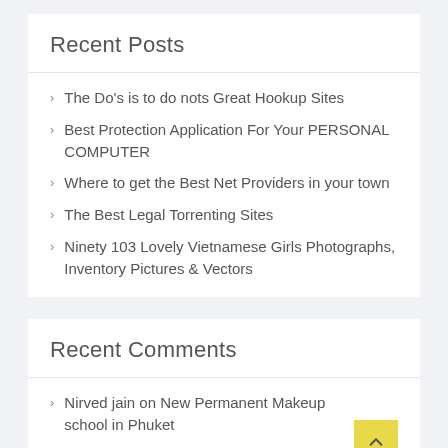Recent Posts
The Do's is to do nots Great Hookup Sites
Best Protection Application For Your PERSONAL COMPUTER
Where to get the Best Net Providers in your town
The Best Legal Torrenting Sites
Ninety 103 Lovely Vietnamese Girls Photographs, Inventory Pictures & Vectors
Recent Comments
Nirved jain on New Permanent Makeup school in Phuket